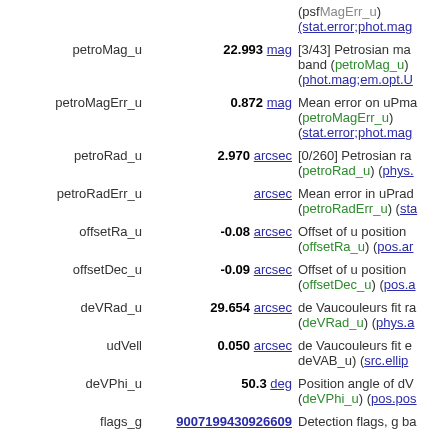| Field | Value | Description |
| --- | --- | --- |
| petroMag_u | 22.993 mag | [3/43] Petrosian magnitude, u band (petroMag_u) (phot.mag;em.opt.U) |
| petroMagErr_u | 0.872 mag | Mean error on uPmag (petroMagErr_u) (stat.error;phot.mag) |
| petroRad_u | 2.970 arcsec | [0/260] Petrosian radius (petroRad_u) (phys.) |
| petroRadErr_u | arcsec | Mean error in uPrad (petroRadErr_u) (sta) |
| offsetRa_u | -0.08 arcsec | Offset of u position (offsetRa_u) (pos.ar) |
| offsetDec_u | -0.09 arcsec | Offset of u position (offsetDec_u) (pos.a) |
| deVRad_u | 29.654 arcsec | de Vaucouleurs fit ra (deVRad_u) (phys.a) |
| udVell | 0.050 arcsec | de Vaucouleurs fit e deVAB_u) (src.ellip) |
| deVPhi_u | 50.3 deg | Position angle of dV (deVPhi_u) (pos.pos) |
| flags_g | 9007199430926609 | Detection flags, g ba |